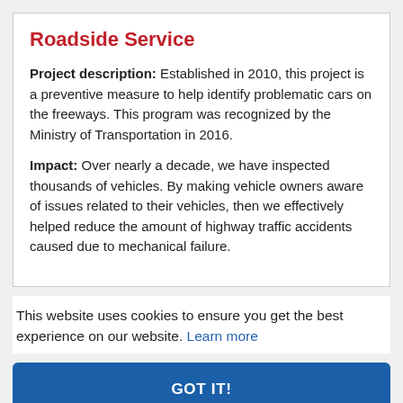Roadside Service
Project description: Established in 2010, this project is a preventive measure to help identify problematic cars on the freeways. This program was recognized by the Ministry of Transportation in 2016.
Impact: Over nearly a decade, we have inspected thousands of vehicles. By making vehicle owners aware of issues related to their vehicles, then we effectively helped reduce the amount of highway traffic accidents caused due to mechanical failure.
This website uses cookies to ensure you get the best experience on our website. Learn more
GOT IT!